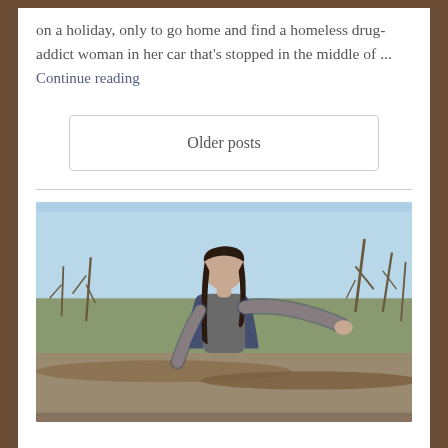on a holiday, only to go home and find a homeless drug-addict woman in her car that's stopped in the middle of ...
Continue reading
Older posts
[Figure (photo): A woman with long dark hair wearing a dark blue cardigan over a grey shirt, balancing or stepping on driftwood logs with arms outstretched, outdoors with bare trees and a pale blue sky in the background.]